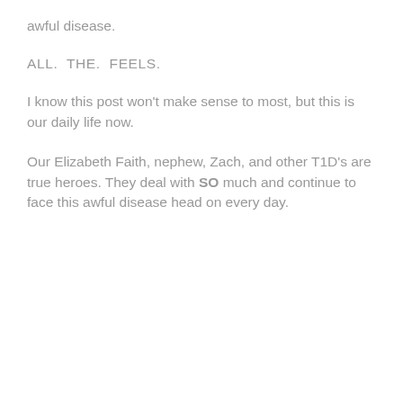awful disease.
ALL.  THE.  FEELS.
I know this post won't make sense to most, but this is our daily life now.
Our Elizabeth Faith, nephew, Zach, and other T1D's are true heroes. They deal with SO much and continue to face this awful disease head on every day.